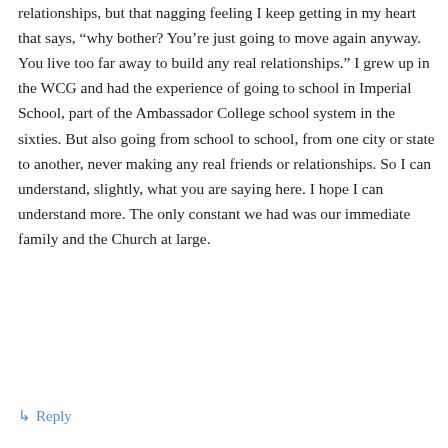relationships, but that nagging feeling I keep getting in my heart that says, “why bother? You’re just going to move again anyway. You live too far away to build any real relationships.” I grew up in the WCG and had the experience of going to school in Imperial School, part of the Ambassador College school system in the sixties. But also going from school to school, from one city or state to another, never making any real friends or relationships. So I can understand, slightly, what you are saying here. I hope I can understand more. The only constant we had was our immediate family and the Church at large.
↳ Reply